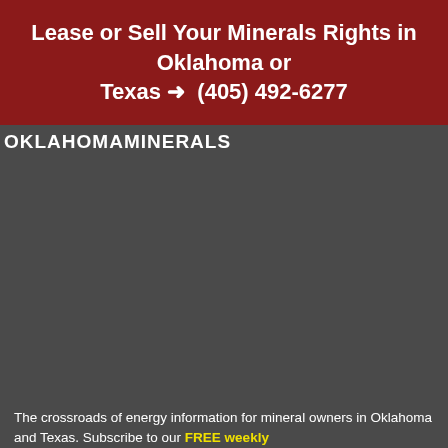Lease or Sell Your Minerals Rights in Oklahoma or Texas ➜  (405) 492-6277
OKLAHOMAMINERALS
The crossroads of energy information for mineral owners in Oklahoma and Texas. Subscribe to our FREE weekly